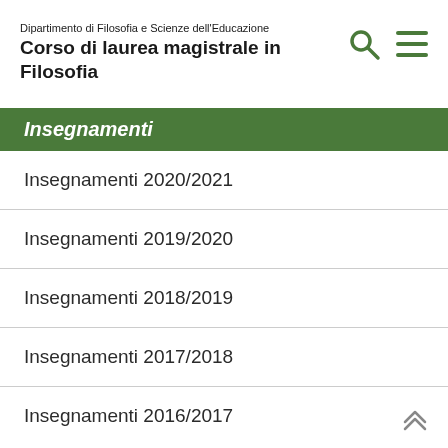Dipartimento di Filosofia e Scienze dell'Educazione
Corso di laurea magistrale in Filosofia
Insegnamenti
Insegnamenti 2020/2021
Insegnamenti 2019/2020
Insegnamenti 2018/2019
Insegnamenti 2017/2018
Insegnamenti 2016/2017